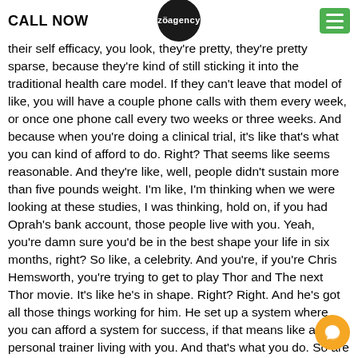CALL NOW | zöagency
their self efficacy, you look, they're pretty, they're pretty sparse, because they're kind of still sticking it into the traditional health care model. If they can't leave that model of like, you will have a couple phone calls with them every week, or once one phone call every two weeks or three weeks. And because when you're doing a clinical trial, it's like that's what you can kind of afford to do. Right? That seems like seems reasonable. And they're like, well, people didn't sustain more than five pounds weight. I'm like, I'm thinking when we were looking at these studies, I was thinking, hold on, if you had Oprah's bank account, those people live with you. Yeah, you're damn sure you'd be in the best shape your life in six months, right? So like, a celebrity. And you're, if you're Chris Hemsworth, you're trying to get to play Thor and The next Thor movie. It's like he's in shape. Right? Right. And he's got all those things working for him. He set up a system where you can afford a system for success, if that means like a personal trainer living with you. And that's what you do. So are we are any of us doubting that 95% of us if we had access to those types of resources, we would be in better shape three months...